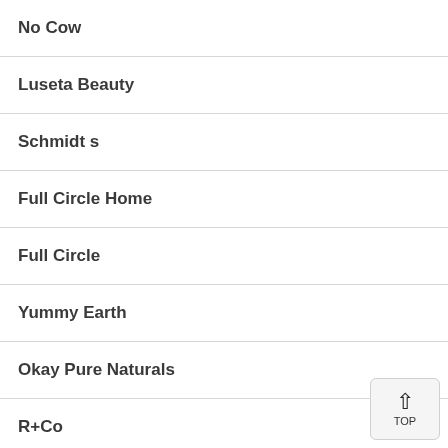No Cow
Luseta Beauty
Schmidt s
Full Circle Home
Full Circle
Yummy Earth
Okay Pure Naturals
R+Co